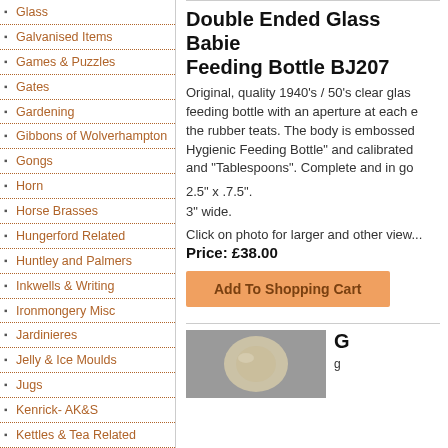Glass
Galvanised Items
Games & Puzzles
Gates
Gardening
Gibbons of Wolverhampton
Gongs
Horn
Horse Brasses
Hungerford Related
Huntley and Palmers
Inkwells & Writing
Ironmongery Misc
Jardinieres
Jelly & Ice Moulds
Jugs
Kenrick- AK&S
Kettles & Tea Related
Keyholes, Keyhole Covers & Escutcheon
Keys & Padlocks
Kitchenalia
Lamp Shades
Double Ended Glass Babies Feeding Bottle BJ207
Original, quality 1940's / 50's clear glass feeding bottle with an aperture at each end for the rubber teats. The body is embossed "Hygienic Feeding Bottle" and calibrated and "Tablespoons". Complete and in go...
2.5" x .7.5".
3" wide.
Click on photo for larger and other view...
Price: £38.00
[Figure (other): Add To Shopping Cart button]
[Figure (photo): Photo of a glass baby feeding bottle on grey background]